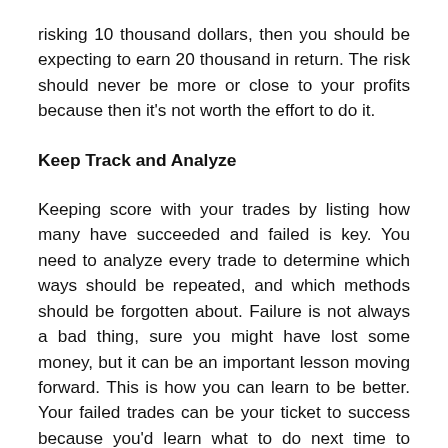risking 10 thousand dollars, then you should be expecting to earn 20 thousand in return. The risk should never be more or close to your profits because then it's not worth the effort to do it.
Keep Track and Analyze
Keeping score with your trades by listing how many have succeeded and failed is key. You need to analyze every trade to determine which ways should be repeated, and which methods should be forgotten about. Failure is not always a bad thing, sure you might have lost some money, but it can be an important lesson moving forward. This is how you can learn to be better. Your failed trades can be your ticket to success because you'd learn what to do next time to avoid making the same mistake again, keeping track of everything can help you